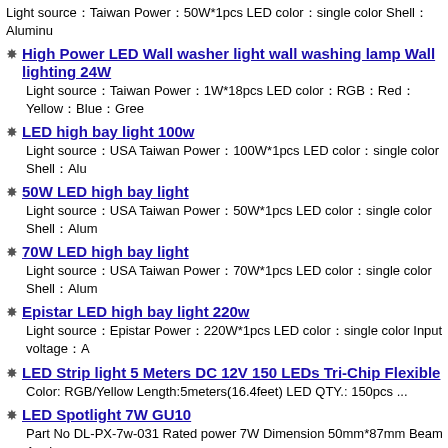Light source：Taiwan Power：50W*1pcs LED color：single color Shell：Aluminu
High Power LED Wall washer light wall washing lamp Wall lighting 24W
Light source：Taiwan Power：1W*18pcs LED color：RGB：Red：Yellow：Blue：Gree
LED high bay light 100w
Light source：USA Taiwan Power：100W*1pcs LED color：single color Shell：Alu
50W LED high bay light
Light source：USA Taiwan Power：50W*1pcs LED color：single color Shell：Alum
70W LED high bay light
Light source：USA Taiwan Power：70W*1pcs LED color：single color Shell：Alum
Epistar LED high bay light 220w
Light source：Epistar Power：220W*1pcs LED color：single color Input voltage：A
LED Strip light 5 Meters DC 12V 150 LEDs Tri-Chip Flexible
Color: RGB/Yellow Length:5meters(16.4feet) LED QTY.: 150pcs ...
LED Spotlight 7W GU10
Part No DL-PX-7w-031 Rated power 7W Dimension 50mm*87mm Beam Angl Aluminum Chip ...
High Power 4W MR16 GU5.3 LED Spotlights
1.Light Source: High power led Edison / Epistar chip 2.LED chip: Normal, Edis DC; ...
1500MM 24W T8 LED Tube Light 5 feet CE UL certified 3 years warrant
Power: 24W Power factor : PF>0.95 CRI: >80Ra Input voltage: AC110-277V